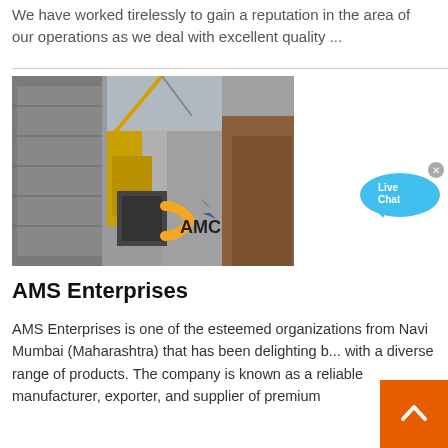We have worked tirelessly to gain a reputation in the area of our operations as we deal with excellent quality ...
[Figure (photo): Construction site photograph showing large concrete structures, industrial machinery, cranes, and scaffolding with an AMC company logo overlay in orange and blue]
AMS Enterprises
AMS Enterprises is one of the esteemed organizations from Navi Mumbai (Maharashtra) that has been delighting b... with a diverse range of products. The company is known as a reliable manufacturer, exporter, and supplier of premium